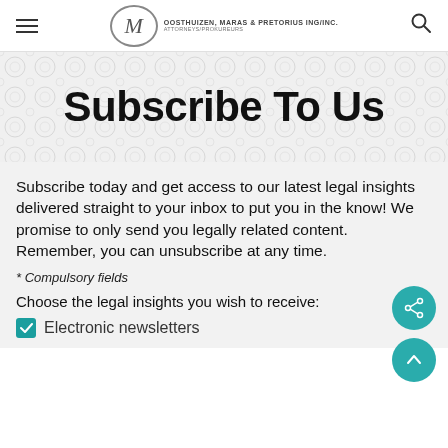OOSTHUIZEN, MARAS & PRETORIUS ING/INC. ATTORNEYS/PROKUREURS
Subscribe To Us
Subscribe today and get access to our latest legal insights delivered straight to your inbox to put you in the know! We promise to only send you legally related content. Remember, you can unsubscribe at any time.
* Compulsory fields
Choose the legal insights you wish to receive:
Electronic newsletters